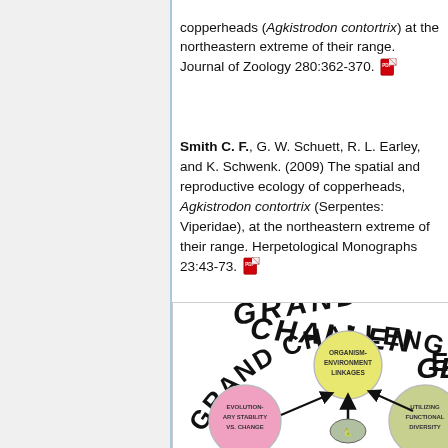copperheads (Agkistrodon contortrix) at the northeastern extreme of their range. Journal of Zoology 280:362-370.
Smith C. F., G. W. Schuett, R. L. Earley, and K. Schwenk. (2009) The spatial and reproductive ecology of copperheads, Agkistrodon contortrix (Serpentes: Viperidae), at the northeastern extreme of their range. Herpetological Monographs 23:43-73.
[Figure (infographic): Grand Challenges diagram showing interconnected circles: Organism-Environment Linkages (yellow), Evolutionary Stability vs. Change (pink), Utilizing Functional Diversity (olive/green), with arrows and a central element, partially visible.]